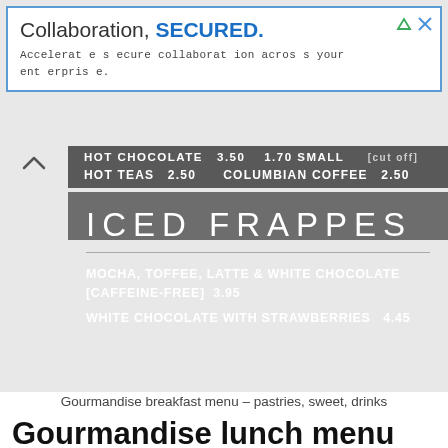[Figure (screenshot): Advertisement banner with blue border: 'Collaboration, SECURED.' with subtext 'Accelerate secure collaboration across your enterprise.']
HOT CHOCOLATE  3.50   1.70 SMALL   HOT TEAS  2.50   COLUMBIAN COFFEE  2.50
ICED FRAPPES
MOCHA, TOFFEE, LATTE & WHITE CHOCOLATE [CAFFEINE-FREE]  3.95
WHITE CHOCOLATE WITH STRAWBERRIES  4.45
Gourmandise breakfast menu – pastries, sweet, drinks
Gourmandise lunch menu
PANINI GRILLED & HOT SANDWICHES